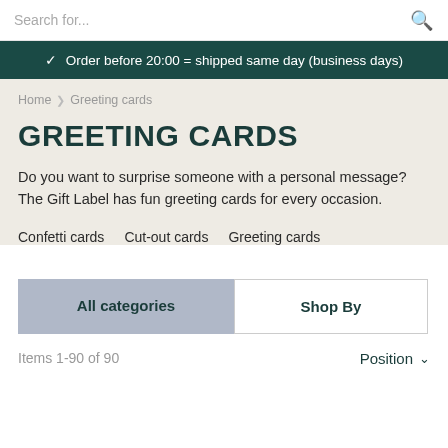Search for...
✔ Order before 20:00 = shipped same day (business days)
Home > Greeting cards
GREETING CARDS
Do you want to surprise someone with a personal message? The Gift Label has fun greeting cards for every occasion.
Confetti cards
Cut-out cards
Greeting cards
All categories
Shop By
Items 1-90 of 90
Position